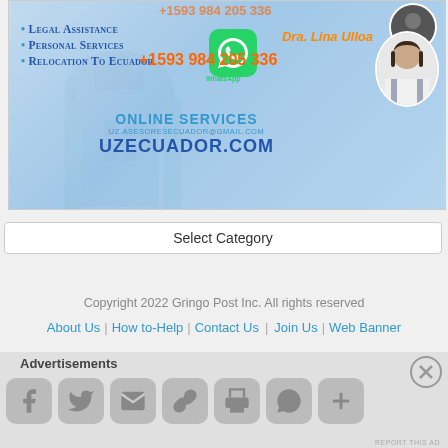[Figure (infographic): Advertisement banner for UZEcuador legal services. Shows bullet points: Legal Assistance, Personal Services, Relocation To Ecuador. Phone +1593 984 205 336, Dra. Lina Ulloa, WhatsApp icon, online services email uz.asesoresecuador@gmail.com and website UZECUADOR.COM. Background is a cathedral/building with blue sky.]
Select Category
Copyright 2022 Gringo Post Inc. All rights reserved
About Us | How to-Help | Contact Us | Join Us | Web Banner
Advertisements